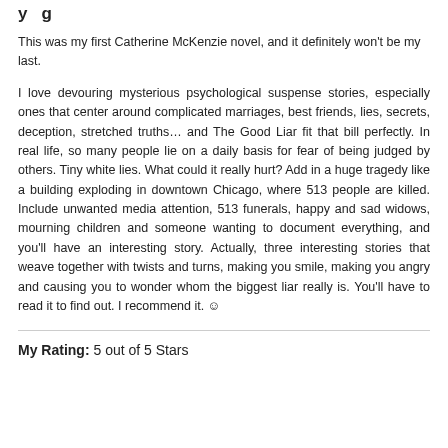My Rating: 5 out of 5 Stars
This was my first Catherine McKenzie novel, and it definitely won't be my last.
I love devouring mysterious psychological suspense stories, especially ones that center around complicated marriages, best friends, lies, secrets, deception, stretched truths… and The Good Liar fit that bill perfectly. In real life, so many people lie on a daily basis for fear of being judged by others. Tiny white lies. What could it really hurt? Add in a huge tragedy like a building exploding in downtown Chicago, where 513 people are killed. Include unwanted media attention, 513 funerals, happy and sad widows, mourning children and someone wanting to document everything, and you'll have an interesting story. Actually, three interesting stories that weave together with twists and turns, making you smile, making you angry and causing you to wonder whom the biggest liar really is. You'll have to read it to find out. I recommend it. ☺